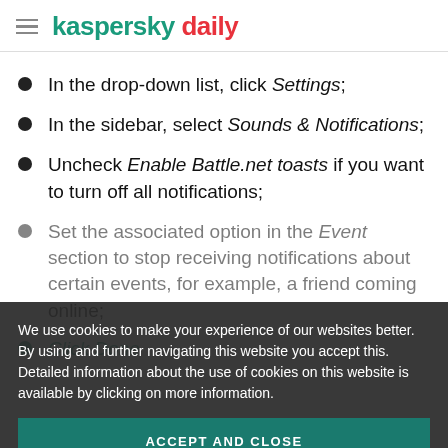kaspersky daily
In the drop-down list, click Settings;
In the sidebar, select Sounds & Notifications;
Uncheck Enable Battle.net toasts if you want to turn off all notifications;
Set the associated option in the Event section to stop receiving notifications about certain events, for example, a friend coming online;
Click Done
We use cookies to make your experience of our websites better. By using and further navigating this website you accept this. Detailed information about the use of cookies on this website is available by clicking on more information.
ACCEPT AND CLOSE
mobile app: